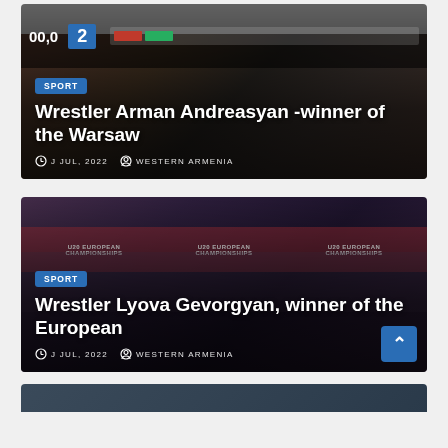[Figure (screenshot): News card 1: Wrestling match scene with scoreboard showing 00.0 and 2, dark arena background with wrestlers]
Wrestler Arman Andreasyan -winner of the Warsaw
J JUL, 2022   WESTERN ARMENIA
[Figure (screenshot): News card 2: U20 European Championships team photo with wrestlers holding trophy and Armenian flag]
Wrestler Lyova Gevorgyan, winner of the European
J JUL, 2022   WESTERN ARMENIA